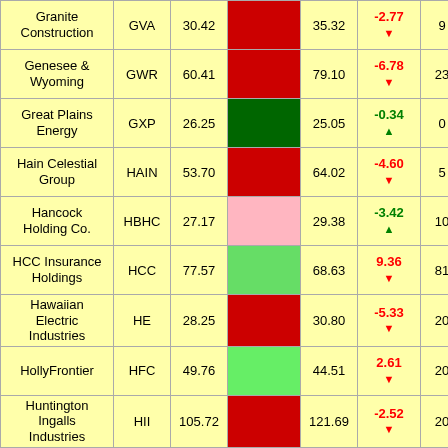| Company | Ticker | Price | Bar | Target | Change | Rank |
| --- | --- | --- | --- | --- | --- | --- |
| Granite Construction | GVA | 30.42 |  | 35.32 | -2.77 ▼ | 9 |
| Genesee & Wyoming | GWR | 60.41 |  | 79.10 | -6.78 ▼ | 23 |
| Great Plains Energy | GXP | 26.25 |  | 25.05 | -0.34 ▲ | 0 |
| Hain Celestial Group | HAIN | 53.70 |  | 64.02 | -4.60 ▼ | 5 |
| Hancock Holding Co. | HBHC | 27.17 |  | 29.38 | -3.42 ▲ | 10 |
| HCC Insurance Holdings | HCC | 77.57 |  | 68.63 | 9.36 ▼ | 81 |
| Hawaiian Electric Industries | HE | 28.25 |  | 30.80 | -5.33 ▼ | 20 |
| HollyFrontier | HFC | 49.76 |  | 44.51 | 2.61 ▼ | 20 |
| Huntington Ingalls Industries | HII | 105.72 |  | 121.69 | -2.52 ▼ | 20 |